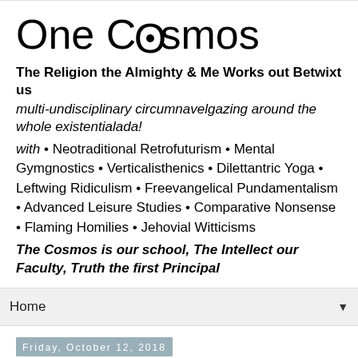One COsmos
The Religion the Almighty & Me Works out Betwixt us
multi-undisciplinary circumnavelgazing around the whole existentialada!
with • Neotraditional Retrofuturism • Mental Gymgnostics • Verticalisthenics • Dilettantric Yoga • Leftwing Ridiculism • Freevangelical Pundamentalism • Advanced Leisure Studies • Comparative Nonsense • Flaming Homilies • Jehovial Witticisms
The Cosmos is our school, The Intellect our Faculty, Truth the first Principal
Home
Friday, October 12, 2018
Falcons and Falconers, Mobs and their Masters